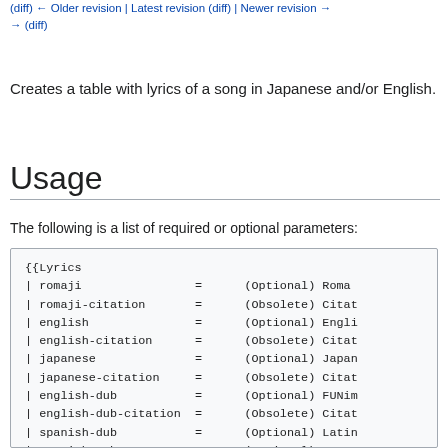(diff) ← Older revision | Latest revision (diff) | Newer revision → (diff)
Creates a table with lyrics of a song in Japanese and/or English.
Usage
The following is a list of required or optional parameters:
{{Lyrics
| romaji                = (Optional) Roma...
| romaji-citation       = (Obsolete) Citat...
| english               = (Optional) Engli...
| english-citation      = (Obsolete) Citat...
| japanese              = (Optional) Japar...
| japanese-citation     = (Obsolete) Citat...
| english-dub           = (Optional) FUNim...
| english-dub-citation  = (Obsolete) Citat...
| spanish-dub           = (Optional) Latin...
| spanish-sub           = (Optional) Cast...
| spanish-dub-english   = (Optional) Latin...
| french-dub            = (Optional) AB Fr...
| french-dub-english    = (Optional) AB Fr...